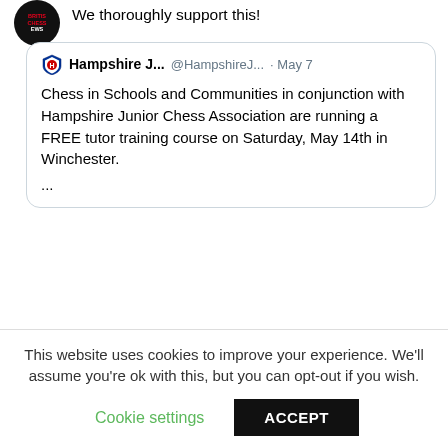We thoroughly support this!
Hampshire J... @HampshireJ... · May 7
Chess in Schools and Communities in conjunction with Hampshire Junior Chess Association are running a FREE tutor training course on Saturday, May 14th in Winchester.
...
BritishChessNews @BritishChess · Apr 29
Remembering Norman Littlewood (31-i-1933 29-iv-1989)
britishchessnews.com/2020/04/29/rem...
This website uses cookies to improve your experience. We'll assume you're ok with this, but you can opt-out if you wish.